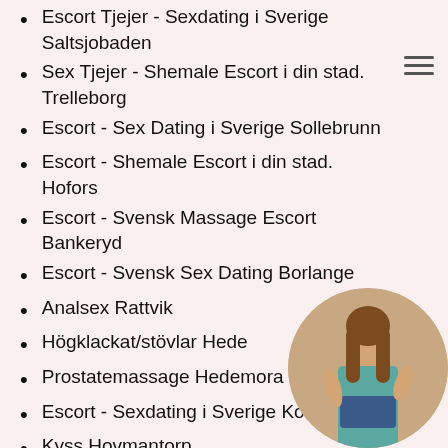Escort Tjejer - Sexdating i Sverige Saltsjobaden
Sex Tjejer - Shemale Escort i din stad. Trelleborg
Escort - Sex Dating i Sverige Sollebrunn
Escort - Shemale Escort i din stad. Hofors
Escort - Svensk Massage Escort Bankeryd
Escort - Svensk Sex Dating Borlange
Analsex Rattvik
Högklackat/stövlar Hede
Prostatemassage Hedemora
Escort - Sexdating i Sverige Kosta
Kyss Hovmantorp
Sex Tjejer - Svensk Massage Esco...
Escort - Svensk Sex Dating Grissle...
Bröstknulla Forshaga
[Figure (photo): Circular cropped photo of a woman in a teal top and denim shorts, positioned at bottom right of the page]